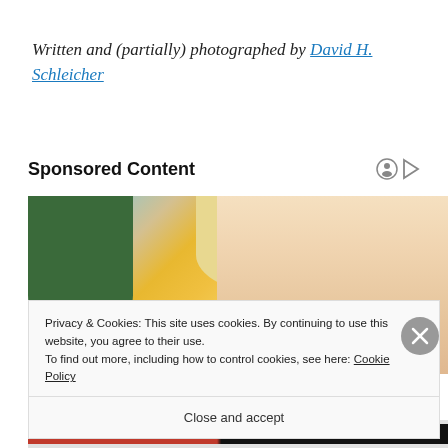Written and (partially) photographed by David H. Schleicher
Sponsored Content
[Figure (photo): Blonde woman in yellow sweater looking downward, with a plant visible in the background, partially obscured by a cookie consent overlay]
Privacy & Cookies: This site uses cookies. By continuing to use this website, you agree to their use.
To find out more, including how to control cookies, see here: Cookie Policy
Close and accept